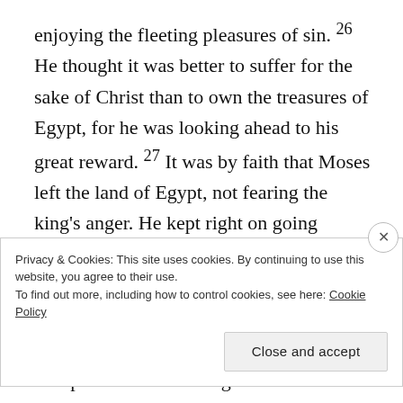enjoying the fleeting pleasures of sin. 26 He thought it was better to suffer for the sake of Christ than to own the treasures of Egypt, for he was looking ahead to his great reward. 27 It was by faith that Moses left the land of Egypt, not fearing the king's anger. He kept right on going because he kept his eyes on the one who is invisible. 28 It was by faith that Moses commanded the people of Israel to keep the Passover and to sprinkle blood on the doorposts so that the angel of death would not kill their firstborn sons.
Privacy & Cookies: This site uses cookies. By continuing to use this website, you agree to their use. To find out more, including how to control cookies, see here: Cookie Policy
Close and accept